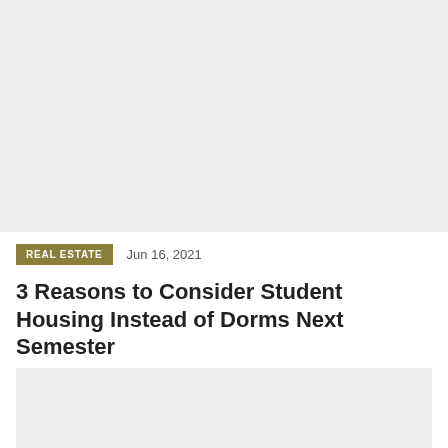[Figure (photo): Top image placeholder, light gray background]
REAL ESTATE   Jun 16, 2021
3 Reasons to Consider Student Housing Instead of Dorms Next Semester
[Figure (photo): Bottom image placeholder, light gray background]